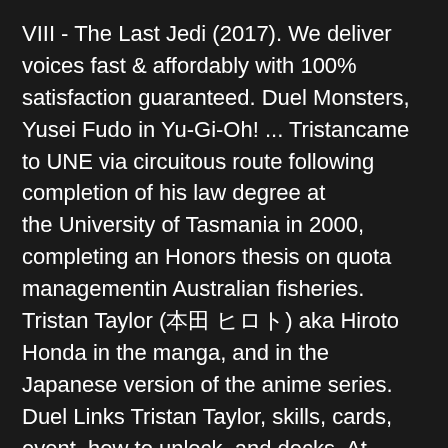VIII - The Last Jedi (2017). We deliver voices fast & affordably with 100% satisfaction guaranteed. Duel Monsters, Yusei Fudo in Yu-Gi-Oh! ... Tristancame to UNE via circuitous route following completion of his law degree at theUniversity of Tasmania in 2000, completing an Honors thesis on quota managementin Australian fisheries. Tristan Taylor (本田 ヒロト) aka Hiroto Honda in the manga, and in the Japanese version of the anime series. Duel Links Tristan Taylor, skills, cards, event, how to unlock, and decks. At some point in the past, Tristan heard Joey was getting into a fight with some gang members while standing up for a kid and rushed to his aid. Brian Zimmerman Gender Male Occupation Voice actor Brian Zimmerman is a voice actor for the Singapore dub of the Yu-Gi-Oh! Tristan Taylor is a character from the anime Yu-Gi-Oh!. Gregory Abbey, also known under the aliases John Campbell and Frank Frankson, is an American voice actor who is known for working with 4Kids